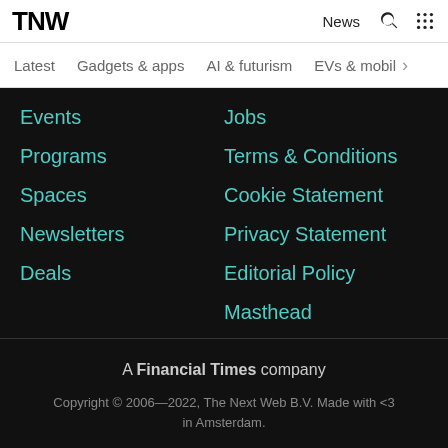TNW News
Latest
Gadgets & apps
AI & futurism
EVs & mobil...
Events
Programs
Spaces
Newsletters
Deals
Jobs
Terms & Conditions
Cookie Statement
Privacy Statement
Editorial Policy
Masthead
A Financial Times company
Copyright © 2006—2022, The Next Web B.V. Made with <3 in Amsterdam.